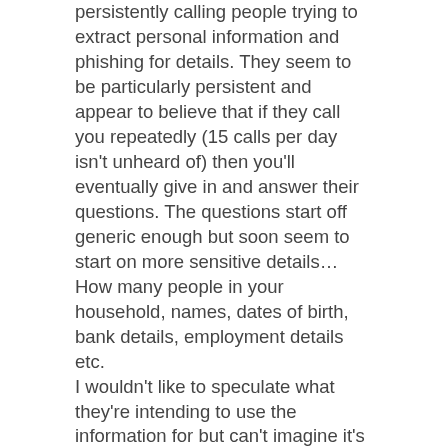persistently calling people trying to extract personal information and phishing for details. They seem to be particularly persistent and appear to believe that if they call you repeatedly (15 calls per day isn't unheard of) then you'll eventually give in and answer their questions. The questions start off generic enough but soon seem to start on more sensitive details… How many people in your household, names, dates of birth, bank details, employment details etc.
I wouldn't like to speculate what they're intending to use the information for but can't imagine it's for anyone's benefit other than their own!
Calls originate from a number that may look vaguely like a UK number when you glance at it (although usually starting with two extra 00's) and